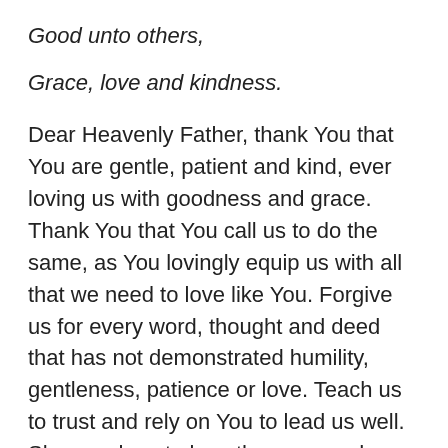Good unto others,
Grace, love and kindness.
Dear Heavenly Father, thank You that You are gentle, patient and kind, ever loving us with goodness and grace. Thank You that You call us to do the same, as You lovingly equip us with all that we need to love like You. Forgive us for every word, thought and deed that has not demonstrated humility, gentleness, patience or love. Teach us to trust and rely on You to lead us well. Show us how to love those around us as You do, especially those who challenge our patience. May many come into a lasting relationship with You. Be glorified O